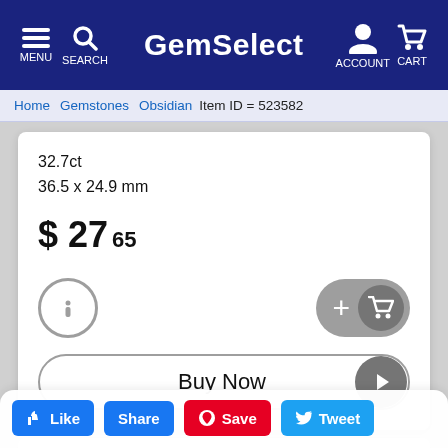GemSelect — MENU, SEARCH, ACCOUNT, CART
Home / Gemstones / Obsidian / Item ID = 523582
32.7ct
36.5 x 24.9 mm
$ 27 65
[Figure (screenshot): Info button (circle with i) and Add to Cart toggle button with plus and cart icon]
[Figure (screenshot): Buy Now button with play icon]
[Figure (screenshot): Social sharing bar with Like, Share, Save, Tweet buttons]